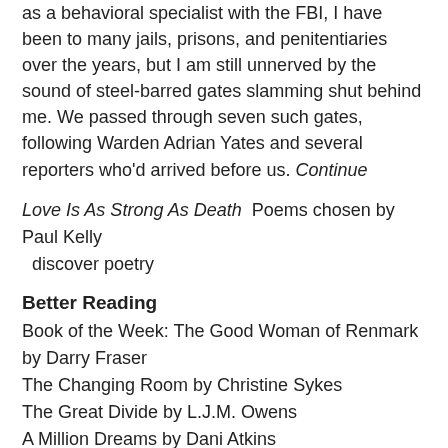as a homicide detective with the DC Metropolitan Police and as a behavioral specialist with the FBI, I have been to many jails, prisons, and penitentiaries over the years, but I am still unnerved by the sound of steel-barred gates slamming shut behind me. We passed through seven such gates, following Warden Adrian Yates and several reporters who'd arrived before us. Continue
Love Is As Strong As Death  Poems chosen by Paul Kelly   discover poetry
Better Reading
Book of the Week: The Good Woman of Renmark by Darry Fraser
The Changing Room by Christine Sykes
The Great Divide by L.J.M. Owens
A Million Dreams by Dani Atkins
The Paris Model by Alexandra Joel
Grown Ups by Marian Keyes
Podcast: Dr Richard Harris and Dr Craig Challen on their